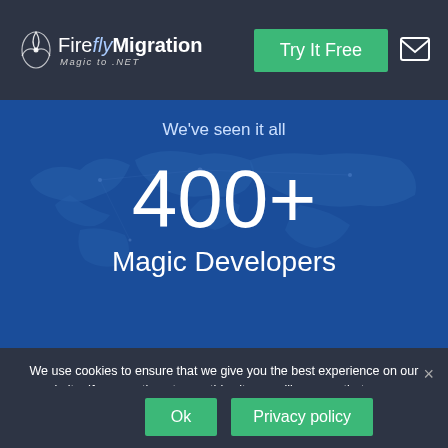[Figure (logo): Firefly Migration logo with firefly icon and tagline 'Magic to .NET']
[Figure (other): Green 'Try It Free' button and mail icon in navigation bar]
We've seen it all
400+
Magic Developers
We use cookies to ensure that we give you the best experience on our website. If you continue to use this site we will assume that you are happy with it.
[Figure (other): Mail icon in a rounded square]
Ok
Privacy policy